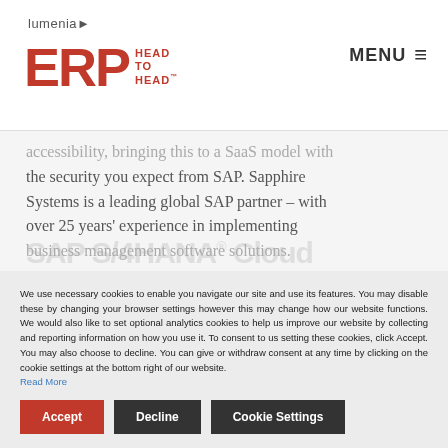lumenia ERP HEAD TO HEAD MENU
accessibility, bringing this to a SaaS model with the security you expect from SAP. Sapphire Systems is a leading global SAP partner – with over 25 years' experience in implementing business management software solutions.
[Figure (other): SAP S/4HANA Cloud watermark text visible behind cookie banner]
We use necessary cookies to enable you navigate our site and use its features. You may disable these by changing your browser settings however this may change how our website functions. We would also like to set optional analytics cookies to help us improve our website by collecting and reporting information on how you use it. To consent to us setting these cookies, click Accept. You may also choose to decline. You can give or withdraw consent at any time by clicking on the cookie settings at the bottom right of our website. Read More
Accept
Decline
Cookie Settings